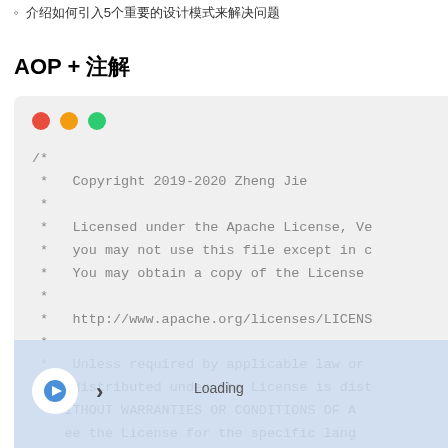◦ 介绍如何引入5个重要的设计模式来解决问题
AOP + 注解
[Figure (screenshot): A macOS-style code editor window with traffic light buttons (red, yellow, green) showing a Java/C++ Apache License comment block. The code shows: /* * Copyright 2019-2020 Zheng Jie * * Licensed under the Apache License, Ve * you may not use this file except in c * You may obtain a copy of the License * * * http://www.apache.org/licenses/LICENS * * * Unless required by applicable law or * distributed under the License is dist * ITHOUT WARRANTIES OR CONDITIONS OF A * ee the License for the specific lang * imitations under the License. At the bottom is a blue overlay with a play button, arrow, and 'Loading' text.]